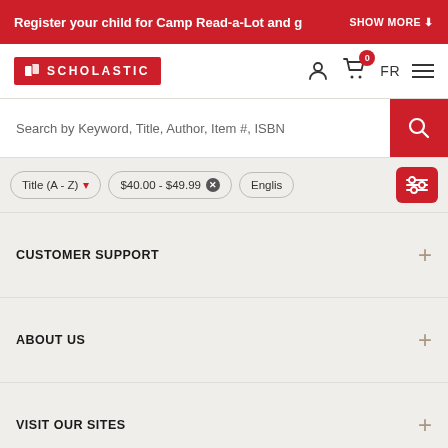Register your child for Camp Read-a-Lot and g   SHOW MORE
[Figure (logo): Scholastic logo with open book icon]
[Figure (screenshot): Navigation icons: user profile, shopping cart with 0 badge, FR language toggle, hamburger menu]
Search by Keyword, Title, Author, Item #, ISBN
Title (A - Z)  $40.00 - $49.99  Englis
CUSTOMER SUPPORT
ABOUT US
VISIT OUR SITES
CONTACT US
custserve@scholastic.ca
1-800-268-3860
[Figure (illustration): Social media icons: Facebook, Pinterest/other, Instagram]